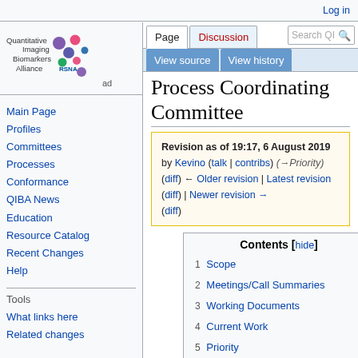Log in
[Figure (logo): Quantitative Imaging Biomarkers Alliance logo with colorful dots and RSNA text]
Navigation: Main Page, Profiles, Committees, Processes, Conformance, QIBA News, Education, Resource Catalog, Recent Changes, Help
Tools: What links here, Related changes
Process Coordinating Committee
Revision as of 19:17, 6 August 2019 by Kevino (talk | contribs) (→Priority) (diff) ← Older revision | Latest revision (diff) | Newer revision → (diff)
| Contents [hide] |
| --- |
| 1 Scope |
| 2 Meetings/Call Summaries |
| 3 Working Documents |
| 4 Current Work |
| 5 Priority |